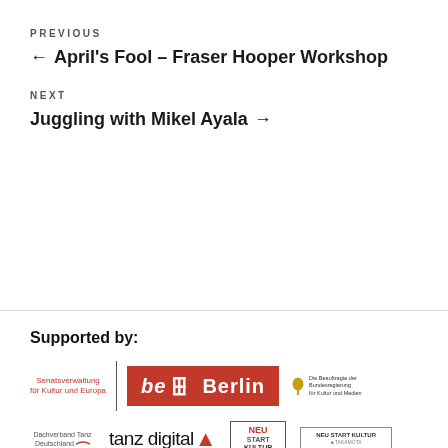PREVIOUS
← April's Fool – Fraser Hooper Workshop
NEXT
Juggling with Mikel Ayala →
Supported by:
[Figure (logo): Senatsverwaltung für Kultur und Europa / be Berlin logo / Die Beauftragte der Bundesregierung für Kultur und Medien logo]
[Figure (logo): Dachverband Tanz Deutschland / tanz digital / NEU START KULTUR / NEU START KULTUR takamota logos]
[Figure (logo): fritz kola and artme logos (partial)]